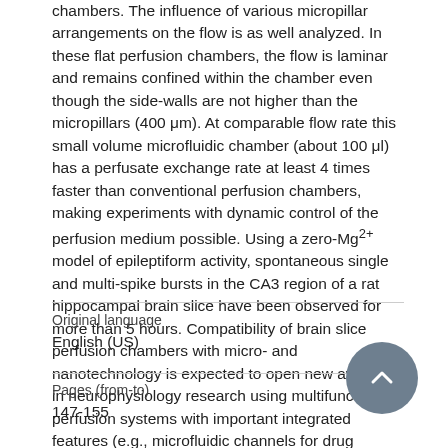chambers. The influence of various micropillar arrangements on the flow is as well analyzed. In these flat perfusion chambers, the flow is laminar and remains confined within the chamber even though the side-walls are not higher than the micropillars (400 μm). At comparable flow rate this small volume microfluidic chamber (about 100 μl) has a perfusate exchange rate at least 4 times faster than conventional perfusion chambers, making experiments with dynamic control of the perfusion medium possible. Using a zero-Mg2+ model of epileptiform activity, spontaneous single and multi-spike bursts in the CA3 region of a rat hippocampal brain slice have been observed for more than 5 hours. Compatibility of brain slice perfusion chambers with micro- and nanotechnology is expected to open new avenues in neurophysiology research using multifunction perfusion systems with important integrated features (e.g., microfluidic channels for drug delivery, electrode or sensor arrays).
Original language
English (US)
Pages (from-to)
147-155